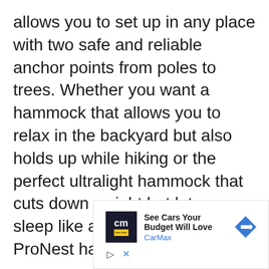allows you to set up in any place with two safe and reliable anchor points from poles to trees. Whether you want a hammock that allows you to relax in the backyard but also holds up while hiking or the perfect ultralight hammock that cuts down weight but lets you sleep like a rock at night, the ProNest has you covered.
If you want ENO quality but need to go ultralightweight, this is your
[Figure (other): CarMax advertisement banner showing CarMax logo (cm letters in dark square with yellow underline), text 'See Cars Your Budget Will Love' and 'CarMax' in blue, with a blue diamond arrow icon on the right. Play and close (X) icons at bottom left.]